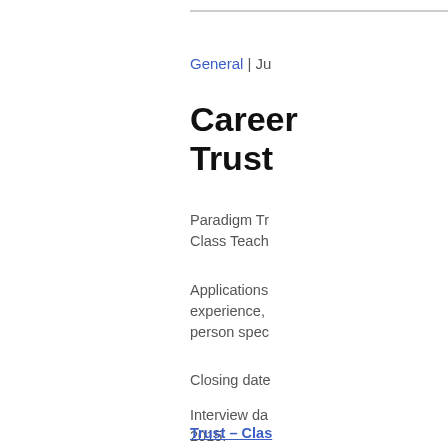General | Ju
Career Trust
Paradigm Tr Class Teach
Applications experience, person spec
Closing date
Interview da 2015.
Please see a
Trust – Clas